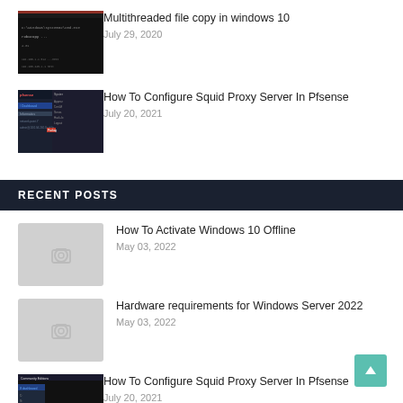[Figure (screenshot): Dark cmd/terminal screenshot thumbnail]
Multithreaded file copy in windows 10
July 29, 2020
[Figure (screenshot): Pfsense web UI screenshot thumbnail]
How To Configure Squid Proxy Server In Pfsense
July 20, 2021
RECENT POSTS
[Figure (photo): Placeholder camera icon thumbnail]
How To Activate Windows 10 Offline
May 03, 2022
[Figure (photo): Placeholder camera icon thumbnail]
Hardware requirements for Windows Server 2022
May 03, 2022
[Figure (screenshot): Pfsense dashboard screenshot thumbnail]
How To Configure Squid Proxy Server In Pfsense
July 20, 2021